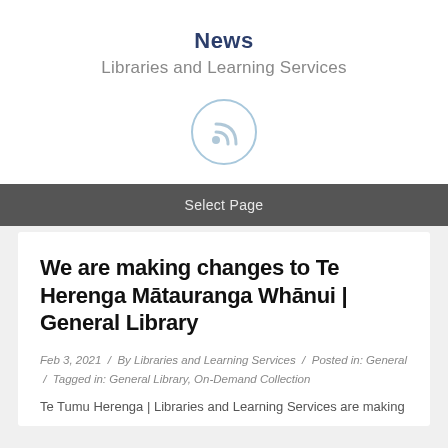News
Libraries and Learning Services
[Figure (illustration): RSS feed icon inside a light blue circle]
Select Page
We are making changes to Te Herenga Mātauranga Whānui | General Library
Feb 3, 2021 / By Libraries and Learning Services / Posted in: General / Tagged in: General Library, On-Demand Collection
Te Tumu Herenga | Libraries and Learning Services are making